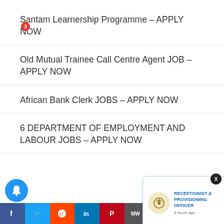Santam Learnership Programme – APPLY NOW
Old Mutual Trainee Call Centre Agent JOB – APPLY NOW
African Bank Clerk JOBS – APPLY NOW
6 DEPARTMENT OF EMPLOYMENT AND LABOUR JOBS – APPLY NOW
NIOR A…